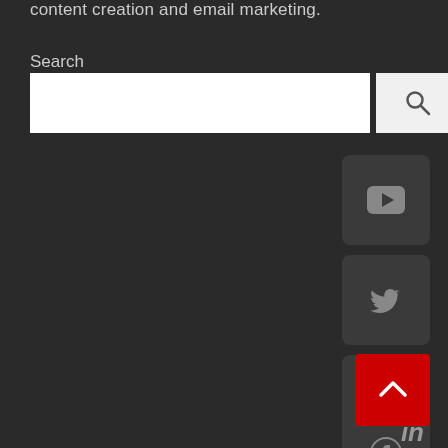content creation and email marketing.
Search
[Figure (screenshot): Search bar with white input field and search button with magnifying glass icon]
[Figure (other): YouTube social media icon button (dark rounded square)]
[Figure (other): Twitter social media icon button (dark rounded square)]
[Figure (other): Pinterest social media icon button (dark rounded square)]
[Figure (other): Facebook social media icon button (dark rounded square)]
[Figure (other): Red back-to-top button with upward chevron arrow]
[Figure (other): LinkedIn social media icon (in white, at bottom right)]